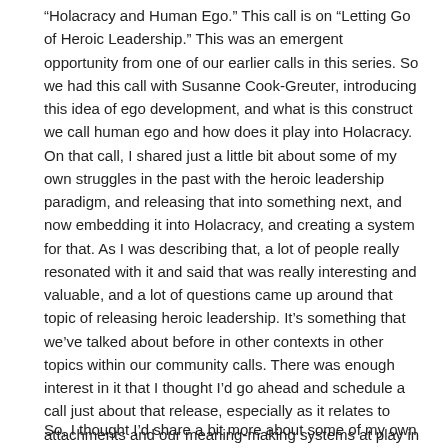“Holacracy and Human Ego.” This call is on “Letting Go of Heroic Leadership.” This was an emergent opportunity from one of our earlier calls in this series. So we had this call with Susanne Cook-Greuter, introducing this idea of ego development, and what is this construct we call human ego and how does it play into Holacracy. On that call, I shared just a little bit about some of my own struggles in the past with the heroic leadership paradigm, and releasing that into something next, and now embedding it into Holacracy, and creating a system for that. As I was describing that, a lot of people really resonated with it and said that was really interesting and valuable, and a lot of questions came up around that topic of releasing heroic leadership. It’s something that we’ve talked about before in other contexts in other topics within our community calls. There was enough interest in it that I thought I’d go ahead and schedule a call just about that release, especially as it relates to attachments and our meaning-making systems at play in this context of Holacracy and human ego.
So, I thought I’d share a bit more about some of my own